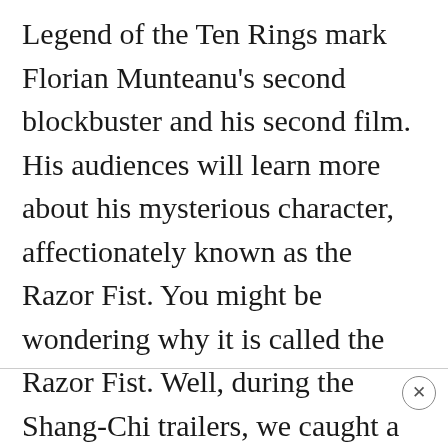Legend of the Ten Rings mark Florian Munteanu's second blockbuster and his second film. His audiences will learn more about his mysterious character, affectionately known as the Razor Fist. You might be wondering why it is called the Razor Fist. Well, during the Shang-Chi trailers, we caught a glimpse of the story behind his sword arm.